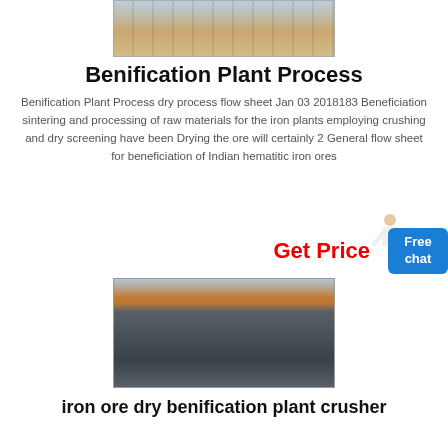[Figure (photo): Top partial photo of industrial/mining equipment at an outdoor site with sandy ground and machinery structures]
Benification Plant Process
Benification Plant Process dry process flow sheet Jan 03 2018183 Beneficiation sintering and processing of raw materials for the iron plants employing crushing and dry screening have been Drying the ore will certainly 2 General flow sheet for beneficiation of Indian hematitic iron ores
Get Price
[Figure (photo): Photo of a large mobile crusher or mining plant on a truck/trailer chassis with an orange overhead gantry crane structure, taken at an industrial outdoor facility in China]
iron ore dry benification plant crusher